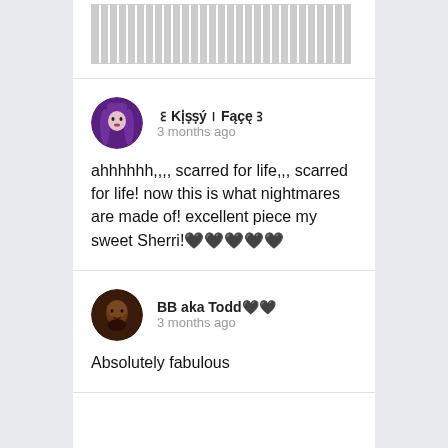[partial text block at top - obscured content]
ꀍKịṣṣý꒐Fąçę꒐
3 months ago
ahhhhhh,,,, scarred for life,,, scarred for life! now this is what nightmares are made of! excellent piece my sweet Sherri!🖤🖤🖤🖤🖤
BB aka Todd🖤🖤
3 months ago
Absolutely fabulous